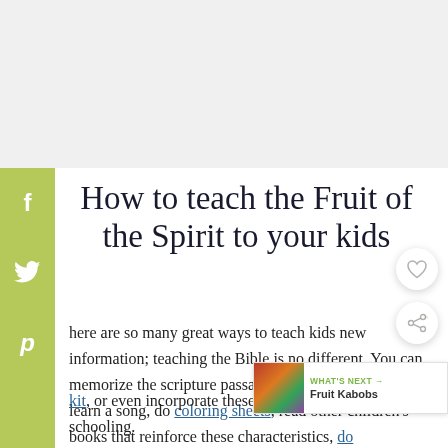[Figure (other): Top advertisement/banner area (white/light gray background)]
[Figure (infographic): Green social sharing sidebar with Facebook (f), Twitter (bird), and Pinterest (p) icons]
How to teach the Fruit of the Spirit to your kids
here are so many great ways to teach kids new information; teaching the Bible is no different. You can memorize the scripture passage, discuss the meaning, learn a song, do coloring sheets, read other children's books that reinforce these characteristics, do [craft] kit, or even incorporate these verses into their schooling.
[Figure (photo): Small circular photo of fruit kabobs next to 'What's Next' widget]
[Figure (other): Floating heart/favorite button circle overlay]
[Figure (other): Floating share button circle overlay]